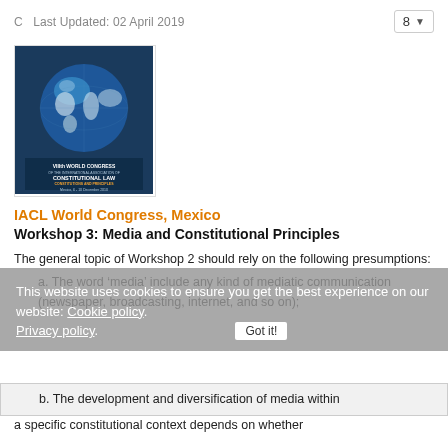C   Last Updated: 02 April 2019
[Figure (illustration): Book cover image: VIIIth World Congress of the International Association of Constitutional Law, Constitutional and Principles, Mexico, 6-10 December 2010. Blue globe on dark blue background.]
IACL World Congress, Mexico
Workshop 3: Media and Constitutional Principles
The general topic of Workshop 2 should rely on the following presumptions:
a. The word ‘media’ include any kind of mediatic communication (newspaper, broadcasting, internet, and so on);
b. The development and diversification of media within a specific constitutional context depends on whether